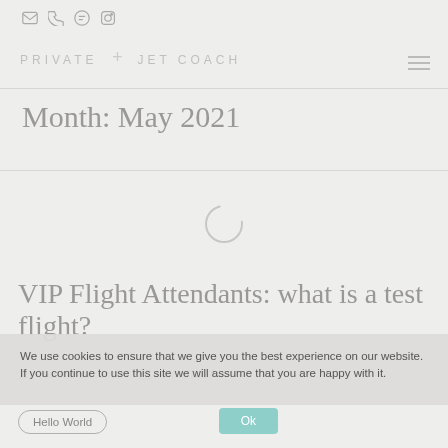PRIVATE JET COACH
Month: May 2021
[Figure (other): Loading spinner circle animation]
VIP Flight Attendants: what is a test flight?
Martina Vincenzi · 05/28/2021
We use cookies to ensure that we give you the best experience on our website. If you continue to use this site we will assume that you are happy with it.
Hello World
Ok